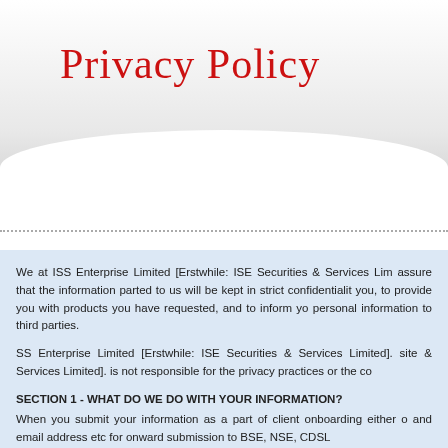Privacy Policy
We at ISS Enterprise Limited [Erstwhile: ISE Securities & Services Limited] assure that the information parted to us will be kept in strict confidentiality you, to provide you with products you have requested, and to inform you personal information to third parties.
SS Enterprise Limited [Erstwhile: ISE Securities & Services Limited]. site & Services Limited]. is not responsible for the privacy practices or the content
SECTION 1 - WHAT DO WE DO WITH YOUR INFORMATION?
When you submit your information as a part of client onboarding either and email address etc for onward submission to BSE, NSE, CDSL